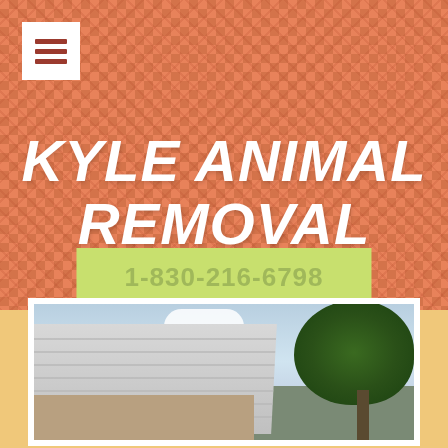[Figure (screenshot): Website header for Kyle Animal Removal with orange textured background, hamburger menu button in top left, large bold italic white title text, green phone number button, and a photo of a building rooftop with trees below]
KYLE ANIMAL REMOVAL
1-830-216-6798
[Figure (photo): Exterior photo showing a metal/tin roof of a building against a blue sky with large green trees in the background]